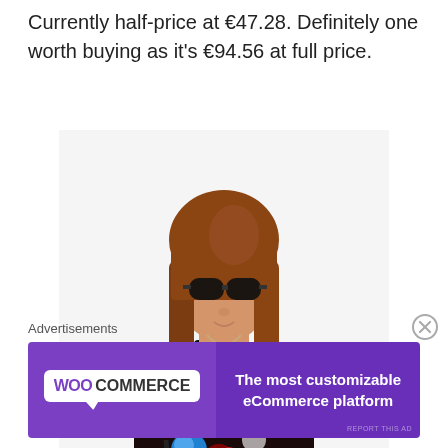Currently half-price at €47.28. Definitely one worth buying as it's €94.56 at full price.
[Figure (photo): A woman wearing sunglasses and a floral print mini dress with black lace trim at the hem, carrying a black bag.]
Advertisements
[Figure (logo): WooCommerce advertisement banner with purple background. Left side shows WooCommerce logo (white badge). Right side reads 'The most customizable eCommerce platform' in white text.]